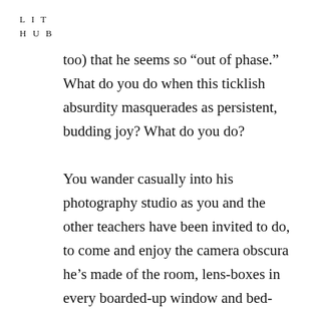L I T
H U B
too) that he seems so “out of phase.” What do you do when this ticklish absurdity masquerades as persistent, budding joy? What do you do?

You wander casually into his photography studio as you and the other teachers have been invited to do, to come and enjoy the camera obscura he’s made of the room, lens-boxes in every boarded-up window and bed-sheet partitions catching the light and colors like butterflies in a net. The outside is inside: shadowy